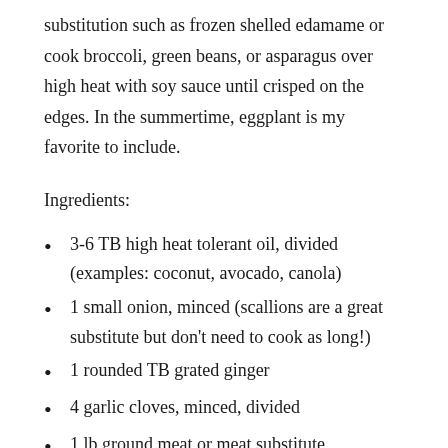substitution such as frozen shelled edamame or cook broccoli, green beans, or asparagus over high heat with soy sauce until crisped on the edges. In the summertime, eggplant is my favorite to include.
Ingredients:
3-6 TB high heat tolerant oil, divided (examples: coconut, avocado, canola)
1 small onion, minced (scallions are a great substitute but don't need to cook as long!)
1 rounded TB grated ginger
4 garlic cloves, minced, divided
1 lb ground meat or meat substitute
3 TB good quality soy sauce or tamari* see note at the bottom